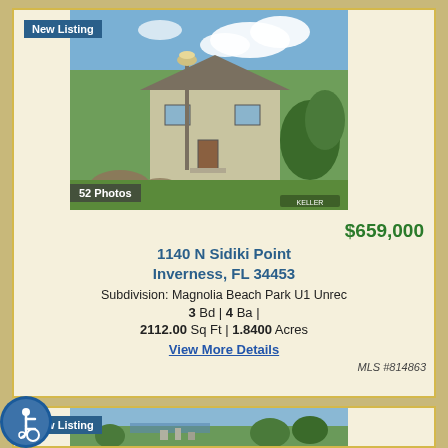[Figure (photo): Exterior photo of a house with lamp post, green lawn, and trees. Shows a multi-story light-colored home with landscaping.]
New Listing
52 Photos
$659,000
1140 N Sidiki Point
Inverness, FL 34453
Subdivision: Magnolia Beach Park U1 Unrec
3 Bd | 4 Ba |
2112.00 Sq Ft | 1.8400 Acres
View More Details
MLS #814863
[Figure (photo): Aerial or distant view of a neighborhood with trees and water in background.]
New Listing
[Figure (illustration): Blue circular accessibility icon with wheelchair user symbol]